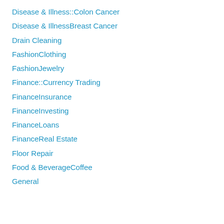Disease & Illness::Colon Cancer
Disease & IllnessBreast Cancer
Drain Cleaning
FashionClothing
FashionJewelry
Finance::Currency Trading
FinanceInsurance
FinanceInvesting
FinanceLoans
FinanceReal Estate
Floor Repair
Food & BeverageCoffee
General